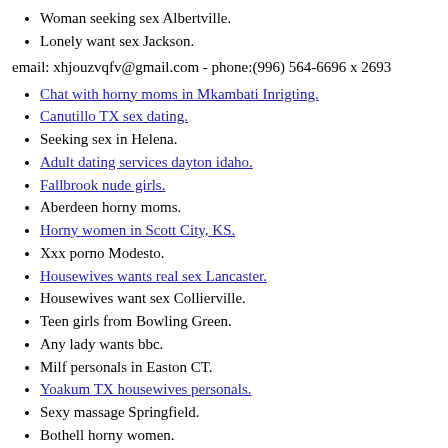Woman seeking sex Albertville.
Lonely want sex Jackson.
email: xhjouzvqfv@gmail.com - phone:(996) 564-6696 x 2693
Chat with horny moms in Mkambati Inrigting.
Canutillo TX sex dating.
Seeking sex in Helena.
Adult dating services dayton idaho.
Fallbrook nude girls.
Aberdeen horny moms.
Horny women in Scott City, KS.
Xxx porno Modesto.
Housewives wants real sex Lancaster.
Housewives want sex Collierville.
Teen girls from Bowling Green.
Any lady wants bbc.
Milf personals in Easton CT.
Yoakum TX housewives personals.
Sexy massage Springfield.
Bothell horny women.
Find fuck buddy Ashkum Illinois.
Cushing OK sex dating.
Women having sex Harrisburg.
Brocton NY adult personals.
Edison sex local.